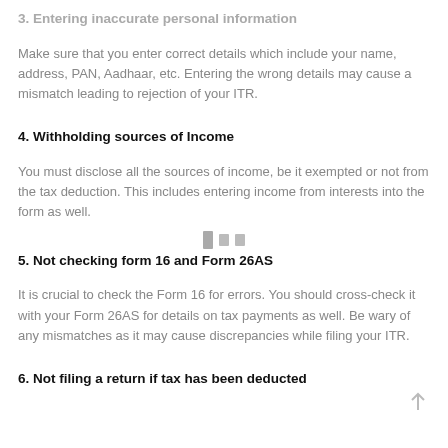3. Entering inaccurate personal information
Make sure that you enter correct details which include your name, address, PAN, Aadhaar, etc. Entering the wrong details may cause a mismatch leading to rejection of your ITR.
4. Withholding sources of Income
You must disclose all the sources of income, be it exempted or not from the tax deduction. This includes entering income from interests into the form as well.
5. Not checking form 16 and Form 26AS
It is crucial to check the Form 16 for errors. You should cross-check it with your Form 26AS for details on tax payments as well. Be wary of any mismatches as it may cause discrepancies while filing your ITR.
6. Not filing a return if tax has been deducted